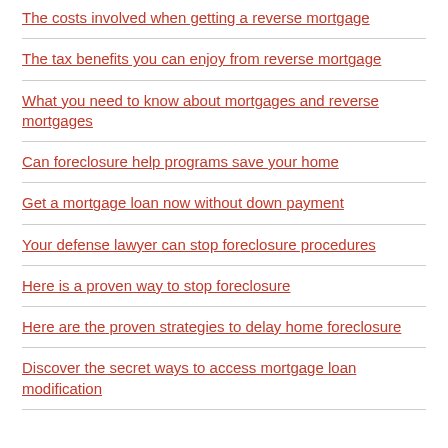The costs involved when getting a reverse mortgage
The tax benefits you can enjoy from reverse mortgage
What you need to know about mortgages and reverse mortgages
Can foreclosure help programs save your home
Get a mortgage loan now without down payment
Your defense lawyer can stop foreclosure procedures
Here is a proven way to stop foreclosure
Here are the proven strategies to delay home foreclosure
Discover the secret ways to access mortgage loan modification